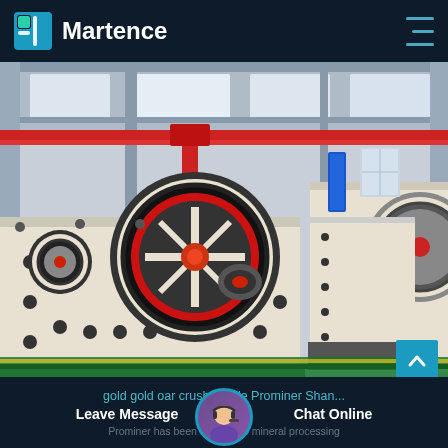Martence
[Figure (photo): Factory floor photo showing two large white industrial jaw crushers/mining machines with red and black flywheel wheels, sitting on black metal platforms inside a large steel-frame industrial building with red overhead cranes. Green painted floor visible in foreground.]
gold gold oar crusher able Prominer Shan...
Leave Message
Chat Online
Prominer has been devoted to mineral processing